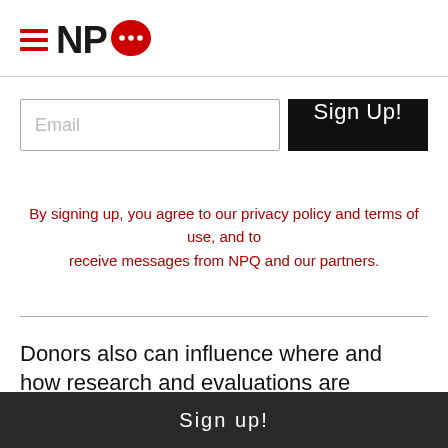[Figure (logo): NPQ logo with hamburger menu icon (three red horizontal lines) and red speech bubble with three dots next to bold black letters NPQ]
[Figure (screenshot): Email input field with placeholder text 'Email' and a black 'Sign Up!' button]
By signing up, you agree to our privacy policy and terms of use, and to receive messages from NPQ and our partners.
Donors also can influence where and how research and evaluations are conducted, which grants their efforts a
Sign up!